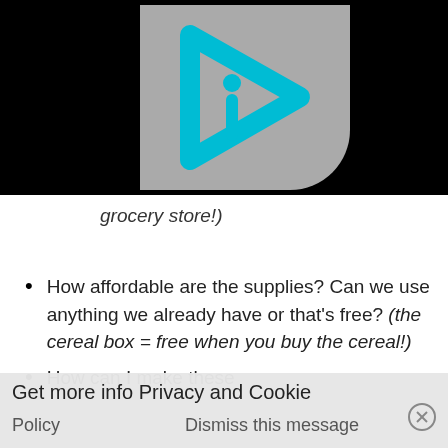[Figure (logo): Cyan play-button triangle with letter 'i' inside, on grey rounded card background, on black banner]
grocery store!)
How affordable are the supplies? Can we use anything we already have or that's free? (the cereal box = free when you buy the cereal!)
How can I make these
Get more info  Privacy and Cookie Policy    Dismiss this message